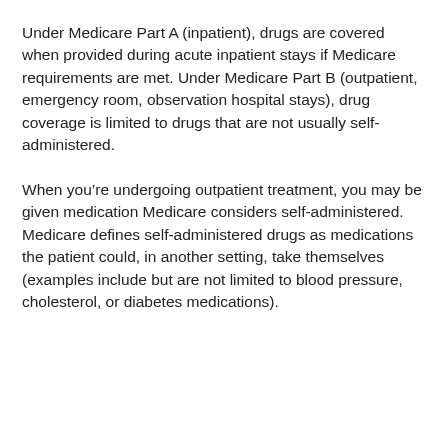Under Medicare Part A (inpatient), drugs are covered when provided during acute inpatient stays if Medicare requirements are met. Under Medicare Part B (outpatient, emergency room, observation hospital stays), drug coverage is limited to drugs that are not usually self-administered.
When you're undergoing outpatient treatment, you may be given medication Medicare considers self-administered. Medicare defines self-administered drugs as medications the patient could, in another setting, take themselves (examples include but are not limited to blood pressure, cholesterol, or diabetes medications).